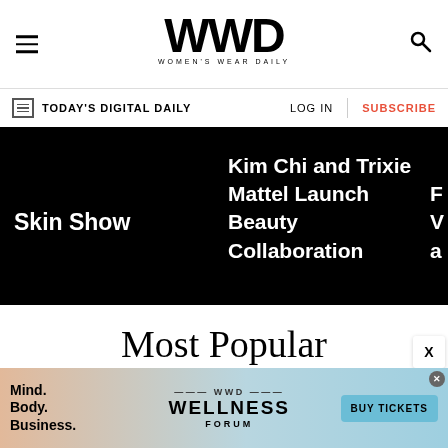WWD — Women's Wear Daily
TODAY'S DIGITAL DAILY | LOG IN | SUBSCRIBE
Skin Show
Kim Chi and Trixie Mattel Launch Beauty Collaboration
Most Popular
[Figure (other): Gray placeholder content box below Most Popular heading]
[Figure (other): WWD Wellness Forum advertisement banner with Buy Tickets button]